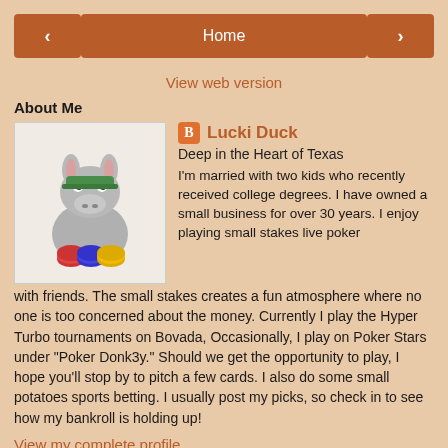< Home >
View web version
About Me
[Figure (illustration): Cartoon donkey wearing a green visor and holding poker chips]
Lucki Duck
Deep in the Heart of Texas
I'm married with two kids who recently received college degrees. I have owned a small business for over 30 years. I enjoy playing small stakes live poker with friends. The small stakes creates a fun atmosphere where no one is too concerned about the money. Currently I play the Hyper Turbo tournaments on Bovada, Occasionally, I play on Poker Stars under "Poker Donk3y." Should we get the opportunity to play, I hope you'll stop by to pitch a few cards. I also do some small potatoes sports betting. I usually post my picks, so check in to see how my bankroll is holding up!
View my complete profile
Powered by Blogger